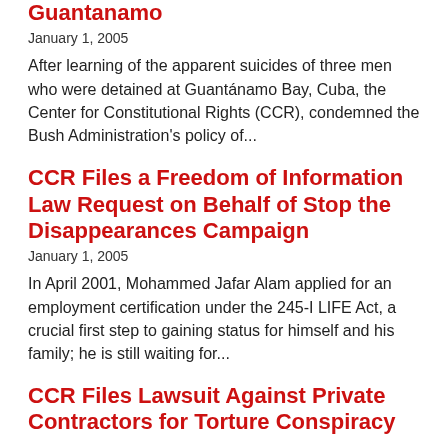CCR Blasts Bush Administration for Suicides at Guantanamo
January 1, 2005
After learning of the apparent suicides of three men who were detained at Guantánamo Bay, Cuba, the Center for Constitutional Rights (CCR), condemned the Bush Administration's policy of...
CCR Files a Freedom of Information Law Request on Behalf of Stop the Disappearances Campaign
January 1, 2005
In April 2001, Mohammed Jafar Alam applied for an employment certification under the 245-I LIFE Act, a crucial first step to gaining status for himself and his family; he is still waiting for...
CCR Files Lawsuit Against Private Contractors for Torture Conspiracy